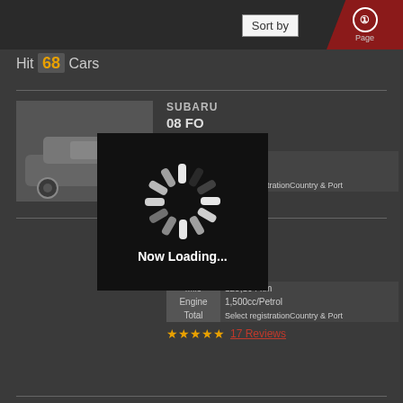Sort by
Hit 68 Cars
SUBARU
08 FO...
FOB:3...
| Mile | Engine | Total |
| --- | --- | --- |
| Mile | ... |
| Engine | ...l |
| Total | Select registrationCountry & Port |
Reviews
[Figure (photo): Loading spinner overlay on dark background]
Now Loading...
SUBARU
08 IMPREZA
FOB:1,638USD
| Mile | Engine | Total |
| --- | --- | --- |
| Mile | 125,164 km |
| Engine | 1,500cc/Petrol |
| Total | Select registrationCountry & Port |
17 Reviews